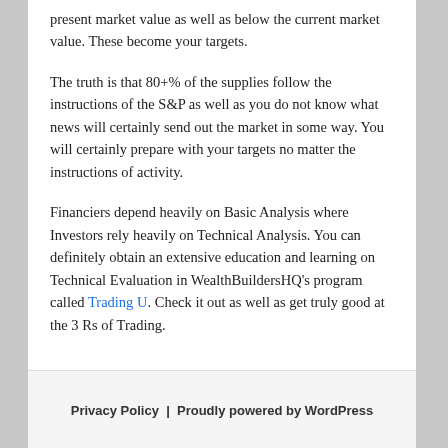present market value as well as below the current market value. These become your targets.
The truth is that 80+% of the supplies follow the instructions of the S&P as well as you do not know what news will certainly send out the market in some way. You will certainly prepare with your targets no matter the instructions of activity.
Financiers depend heavily on Basic Analysis where Investors rely heavily on Technical Analysis. You can definitely obtain an extensive education and learning on Technical Evaluation in WealthBuildersHQ's program called Trading U. Check it out as well as get truly good at the 3 Rs of Trading.
Privacy Policy  |  Proudly powered by WordPress